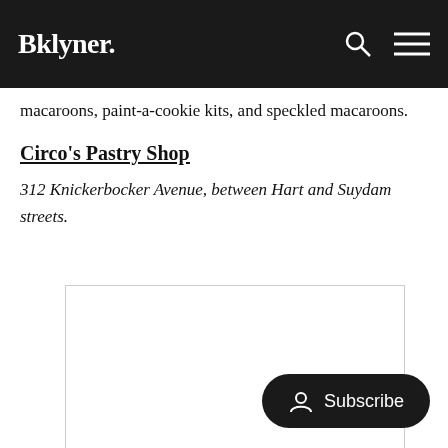Bklyner.
macaroons, paint-a-cookie kits, and speckled macaroons.
Circo's Pastry Shop
312 Knickerbocker Avenue, between Hart and Suydam streets.
[Figure (photo): Image placeholder box with light border]
Subscribe